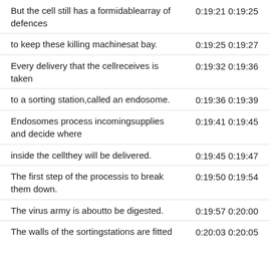But the cell still has a formidablearray of defences	0:19:21 0:19:25
to keep these killing machinesat bay.	0:19:25 0:19:27
Every delivery that the cellreceives is taken	0:19:32 0:19:36
to a sorting station,called an endosome.	0:19:36 0:19:39
Endosomes process incomingsupplies and decide where	0:19:41 0:19:45
inside the cellthey will be delivered.	0:19:45 0:19:47
The first step of the processis to break them down.	0:19:50 0:19:54
The virus army is aboutto be digested.	0:19:57 0:20:00
The walls of the sortingstations are fitted	0:20:03 0:20:05